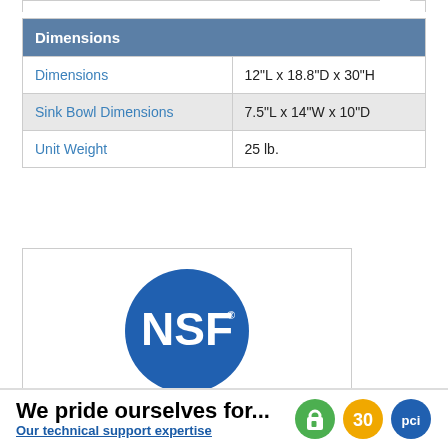| Dimensions |  |
| --- | --- |
| Dimensions | 12"L x 18.8"D x 30"H |
| Sink Bowl Dimensions | 7.5"L x 14"W x 10"D |
| Unit Weight | 25 lb. |
[Figure (logo): NSF certification logo — blue circle with white NSF text, labeled 'NSF Listed' below]
We pride ourselves for... Our technical support expertise